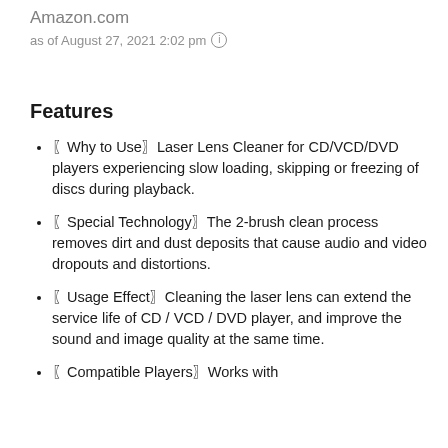Amazon.com
as of August 27, 2021 2:02 pm ⓘ
Features
〖Why to Use〗Laser Lens Cleaner for CD/VCD/DVD players experiencing slow loading, skipping or freezing of discs during playback.
〖Special Technology〗The 2-brush clean process removes dirt and dust deposits that cause audio and video dropouts and distortions.
〖Usage Effect〗Cleaning the laser lens can extend the service life of CD / VCD / DVD player, and improve the sound and image quality at the same time.
〖Compatible Players〗Works with